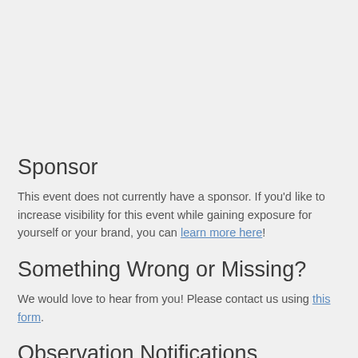Sponsor
This event does not currently have a sponsor. If you'd like to increase visibility for this event while gaining exposure for yourself or your brand, you can learn more here!
Something Wrong or Missing?
We would love to hear from you! Please contact us using this form.
Observation Notifications
Would like to be notified before the next observation? Si...